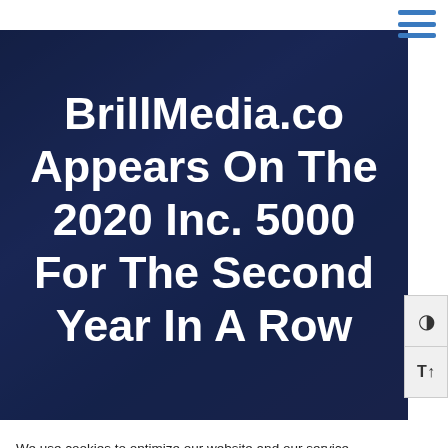[Figure (screenshot): Navigation hamburger menu icon with three horizontal blue lines in top right corner]
BrillMedia.co Appears On The 2020 Inc. 5000 For The Second Year In A Row
[Figure (screenshot): Accessibility toolbar with contrast toggle and text size buttons on right side]
We use cookies to optimize our website and our service.
Cookie Policy -  Privacy Statement
Accept